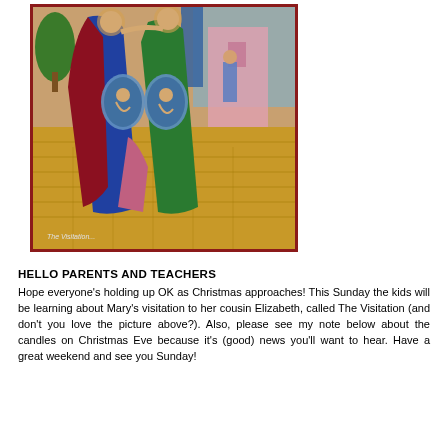[Figure (illustration): Byzantine/Orthodox Christian icon depicting The Visitation — Mary and Elizabeth embracing, each with a medallion showing their unborn children (Jesus and John the Baptist). Background shows golden landscape, trees, and architectural elements in traditional icon style. Caption reads 'The Visitation...' at bottom left.]
HELLO PARENTS AND TEACHERS
Hope everyone's holding up OK as Christmas approaches! This Sunday the kids will be learning about Mary's visitation to her cousin Elizabeth, called The Visitation (and don't you love the picture above?). Also, please see my note below about the candles on Christmas Eve because it's (good) news you'll want to hear. Have a great weekend and see you Sunday!